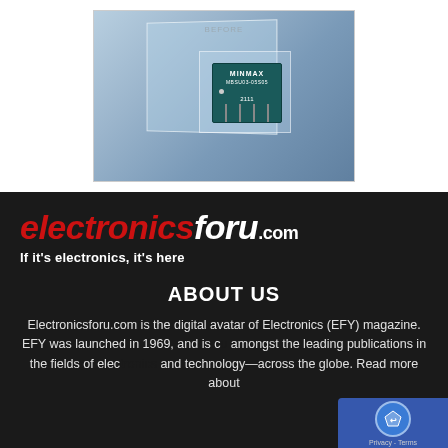[Figure (photo): Product photo of a MINMAX electronic component (DC-DC converter module, model MBSU03-05S05) shown in front of glass cube blocks on a blue-grey background. The label 'BEFORE' appears at the top. The component is dark teal/green with white text and metal pins.]
[Figure (logo): Electronicsforu.com logo in bold italic font: 'electronics' in red and 'foru' in white, followed by '.com' in white. Tagline below: 'If it's electronics, it's here' in white on dark background.]
ABOUT US
Electronicsforu.com is the digital avatar of Electronics (EFY) magazine. EFY was launched in 1969, and is amongst the leading publications in the fields of electronics and technology—across the globe. Read more about